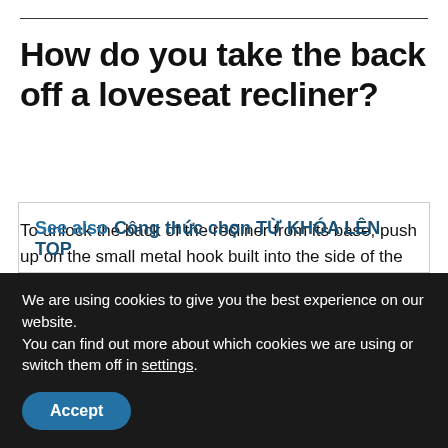How do you take the back off a loveseat recliner?
To unlock the back of the recliner from its base, push up on the small metal hook built into the side of the recliner. 3. To detach the back of the recliner, hold onto both sides of the recliner back and pull upwards.
See also  Công thức chọn TỪ KHÓA LÊN TOP
We are using cookies to give you the best experience on our website.
You can find out more about which cookies we are using or switch them off in settings.